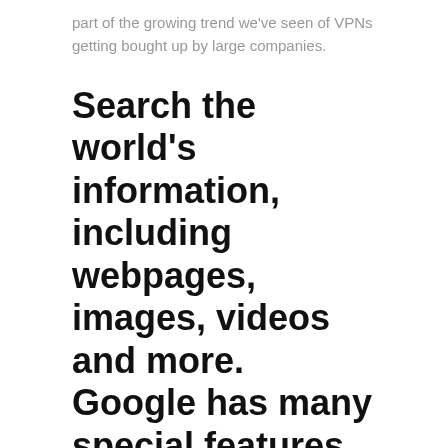part of the growing trend we've seen of VPNs getting bought up by large companies.
Search the world's information, including webpages, images, videos and more. Google has many special features to help you find exactly what you're looking for.
Download the latest LTS version of Ubuntu, for desktop PCs and How To Download Fallout 4 Mod laptops. LTS stands for long-term support — which means five years, until April 2025, of free security and maintenance updates, guaranteed. Fun fact: the Fallout 1 and 2 10mm Pistol is based off the main character's revolver from the Hard Boiled comic book miniseries. That's why it, and by extension the Classic 10mm